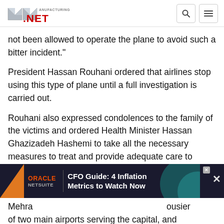Manufacturing.net
not been allowed to operate the plane to avoid such a bitter incident."
President Hassan Rouhani ordered that airlines stop using this type of plane until a full investigation is carried out.
Rouhani also expressed condolences to the family of the victims and ordered Health Minister Hassan Ghazizadeh Hashemi to take all the necessary measures to treat and provide adequate care to those injured in the incident, his website, president.ir, reported.
[Figure (other): Oracle NetSuite advertisement banner: CFO Guide: 4 Inflation Metrics to Watch Now]
Mehra[...] ousier of two main airports serving the capital, and